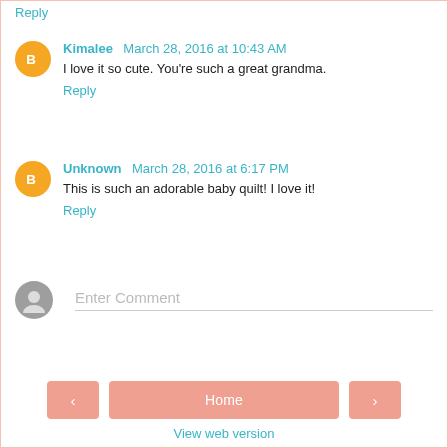Reply
Kimalee  March 28, 2016 at 10:43 AM
I love it so cute. You're such a great grandma.
Reply
Unknown  March 28, 2016 at 6:17 PM
This is such an adorable baby quilt! I love it!
Reply
Enter Comment
Home
View web version